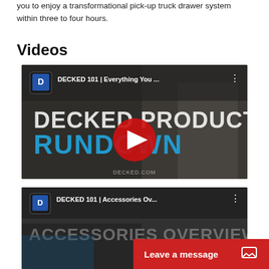you to enjoy a transformational pick-up truck drawer system within three to four hours.
Videos
[Figure (screenshot): YouTube video thumbnail for 'DECKED 101 | Everything You ...' showing DECKED Product Rundown with a man in workshop and red YouTube play button overlay]
[Figure (screenshot): YouTube video thumbnail for 'DECKED 101 | Accessories Ov...' showing ACCESSORIES OVERVIEW text with partial view of accessories]
Leave a message